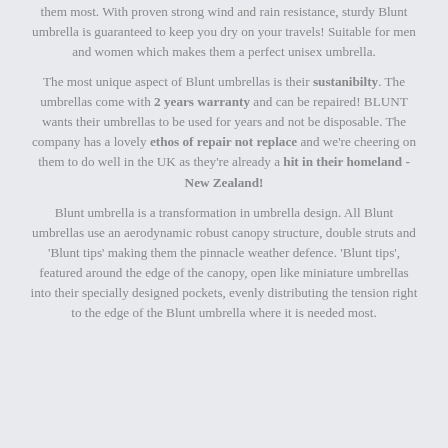them most. With proven strong wind and rain resistance, sturdy Blunt umbrella is guaranteed to keep you dry on your travels! Suitable for men and women which makes them a perfect unisex umbrella.
The most unique aspect of Blunt umbrellas is their sustanibilty. The umbrellas come with 2 years warranty and can be repaired! BLUNT wants their umbrellas to be used for years and not be disposable. The company has a lovely ethos of repair not replace and we're cheering on them to do well in the UK as they're already a hit in their homeland - New Zealand!
Blunt umbrella is a transformation in umbrella design. All Blunt umbrellas use an aerodynamic robust canopy structure, double struts and 'Blunt tips' making them the pinnacle weather defence. 'Blunt tips', featured around the edge of the canopy, open like miniature umbrellas into their specially designed pockets, evenly distributing the tension right to the edge of the Blunt umbrella where it is needed most.